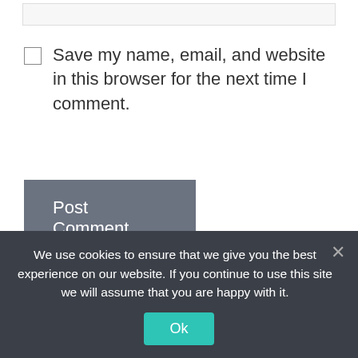[Figure (screenshot): Partially visible website input field (Website) at top of page]
Save my name, email, and website in this browser for the next time I comment.
Post Comment
Search
[Figure (screenshot): Search input field with Search button]
We use cookies to ensure that we give you the best experience on our website. If you continue to use this site we will assume that you are happy with it.
Ok